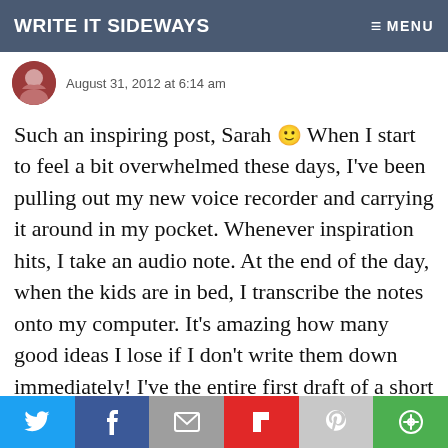WRITE IT SIDEWAYS   ≡ MENU
August 31, 2012 at 6:14 am
Such an inspiring post, Sarah 🙂 When I start to feel a bit overwhelmed these days, I've been pulling out my new voice recorder and carrying it around in my pocket. Whenever inspiration hits, I take an audio note. At the end of the day, when the kids are in bed, I transcribe the notes onto my computer. It's amazing how many good ideas I lose if I don't write them down immediately! I've the entire first draft of a short story (4500 words) in the last week
Twitter | Facebook | Email | Flipboard | Pinterest | More